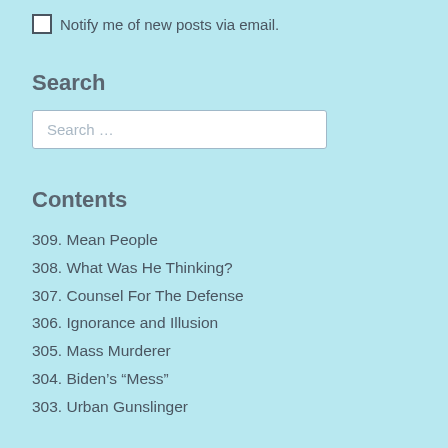Notify me of new posts via email.
Search
Search …
Contents
309. Mean People
308. What Was He Thinking?
307. Counsel For The Defense
306. Ignorance and Illusion
305. Mass Murderer
304. Biden's “Mess”
303. Urban Gunslinger